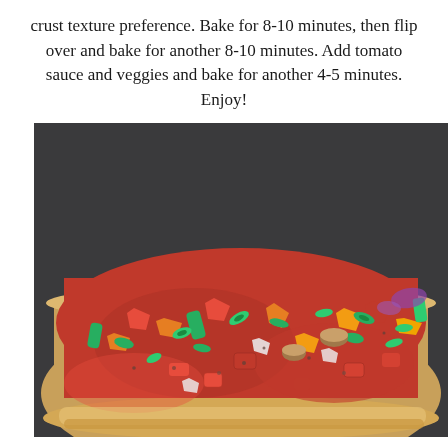crust texture preference. Bake for 8-10 minutes, then flip over and bake for another 8-10 minutes. Add tomato sauce and veggies and bake for another 4-5 minutes. Enjoy!
[Figure (photo): Close-up photograph of a flatbread pizza topped with tomato sauce, chopped colorful bell peppers (red, orange, green), sliced green onions, and herbs, on a dark baking surface.]